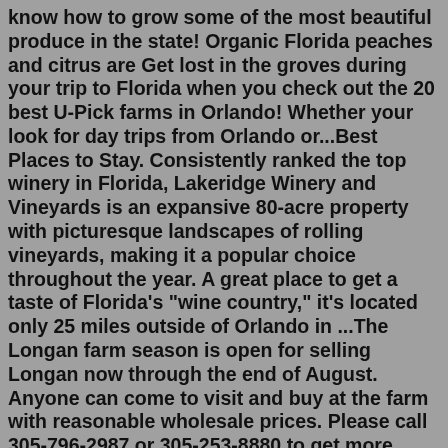know how to grow some of the most beautiful produce in the state! Organic Florida peaches and citrus are Get lost in the groves during your trip to Florida when you check out the 20 best U-Pick farms in Orlando! Whether your look for day trips from Orlando or...Best Places to Stay. Consistently ranked the top winery in Florida, Lakeridge Winery and Vineyards is an expansive 80-acre property with picturesque landscapes of rolling vineyards, making it a popular choice throughout the year. A great place to get a taste of Florida's "wine country," it's located only 25 miles outside of Orlando in ...The Longan farm season is open for selling Longan now through the end of August. Anyone can come to visit and buy at the farm with reasonable wholesale prices. Please call 305-796-2987 or 305-253-8880 to get more information about the farm location and to arrange an appointment. 35. This tropical fruit can be described as custard like. It is similar to the soursop fruit. ... Florida Oriental Farms. 0 item - $0.00. ... FL 33031 · (305) 246-2559 ... This description from ...